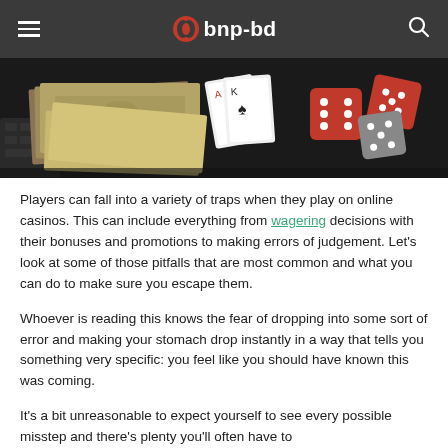bnp-bd
[Figure (photo): Casino photo showing dollar bills, playing cards, and red and grey dice on a dark surface]
Players can fall into a variety of traps when they play on online casinos. This can include everything from wagering decisions with their bonuses and promotions to making errors of judgement. Let’s look at some of those pitfalls that are most common and what you can do to make sure you escape them.
Whoever is reading this knows the fear of dropping into some sort of error and making your stomach drop instantly in a way that tells you something very specific: you feel like you should have known this was coming.
It’s a bit unreasonable to expect yourself to see every possible misstep and there’s plenty you’ll often have to